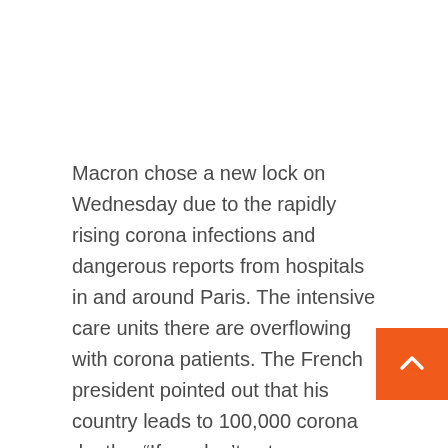Macron chose a new lock on Wednesday due to the rapidly rising corona infections and dangerous reports from hospitals in and around Paris. The intensive care units there are overflowing with corona patients. The French president pointed out that his country leads to 100,000 corona deaths. “If we don’t act now we will lose control,” he said.
The corona virus is growing in the European landscape. In addition to corona operations in Fra those in Germany were also extended. In Belgium, the government took further steps to control the virus, but